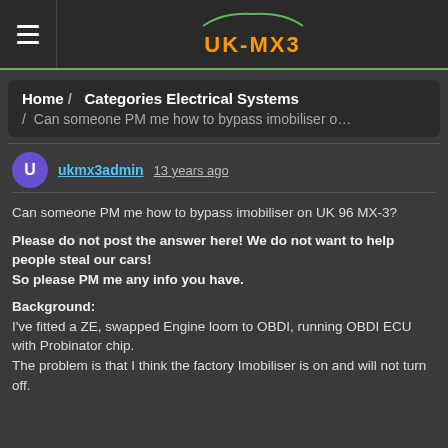UK-MX3
Home / Categories Electrical Systems / Can someone PM me how to bypass imobiliser o…
ukmx3admin 13 years ago
Can someone PM me how to bypass imobiliser on UK 96 MX-3?

Please do not post the answer here! We do not want to help people steal our cars!
So please PM me any info you have.

Background:
I've fitted a ZE, swapped Engine loom to OBDI, running OBDI ECU with Probinator chip.
The problem is that I think the factory Imobiliser is on and will not turn off.